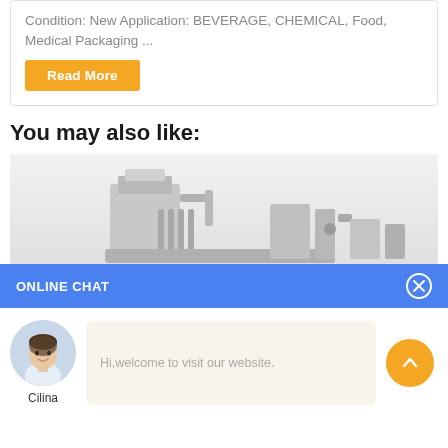Condition: New Application: BEVERAGE, CHEMICAL, Food, Medical Packaging ...
Read More
You may also like:
[Figure (photo): Industrial packaging machine equipment on light grey background]
ONLINE CHAT
[Figure (photo): Avatar photo of chat agent named Cilina]
Hi,welcome to visit our website.
Cilina